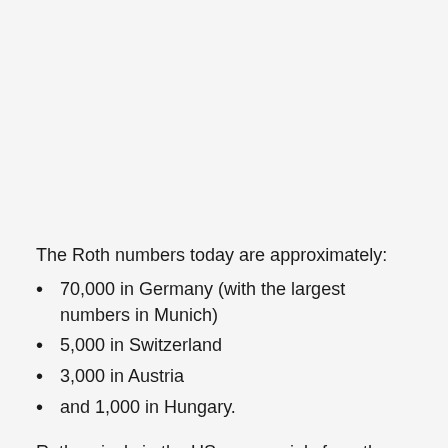The Roth numbers today are approximately:
70,000 in Germany (with the largest numbers in Munich)
5,000 in Switzerland
3,000 in Austria
and 1,000 in Hungary.
Roth arrivals in the US were mainly from these four countries. Some also came from what was